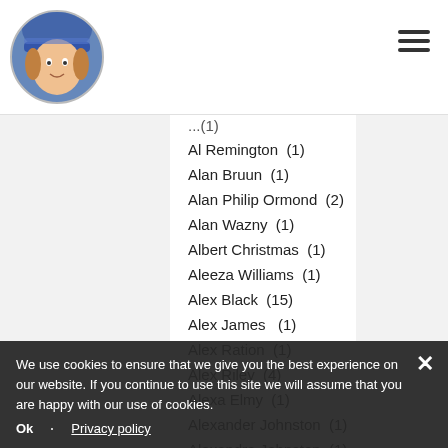Website header with logo and navigation menu
Al Remington (1)
Alan Bruun (1)
Alan Philip Ormond (2)
Alan Wazny (1)
Albert Christmas (1)
Aleeza Williams (1)
Alex Black (15)
Alex James (1)
Alex Ration (1)
Alex Riley (4)
Alexa Elmy (1)
Alexander Johnston (1)
Alexandra Johnston (1)
Alicia Foreman (4)
Alicyn Aimers (1)
Alison Aimers (1)
Alison Veitch (1)
Allen Garwood (1)
Amanda Friday (2)
Amanda Lemay (1)
Amanda McKibbin Ogle (1)
We use cookies to ensure that we give you the best experience on our website. If you continue to use this site we will assume that you are happy with our use of cookies.
Ok   Privacy policy